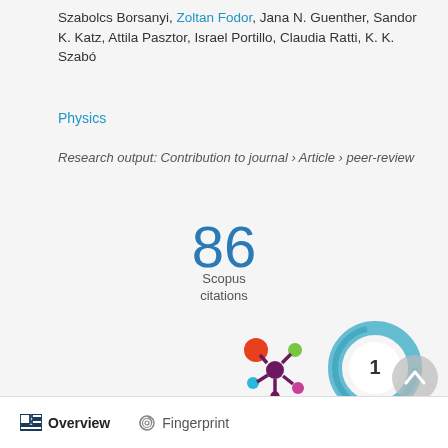Szabolcs Borsanyi, Zoltan Fodor, Jana N. Guenther, Sandor K. Katz, Attila Pasztor, Israel Portillo, Claudia Ratti, K. K. Szabó
Physics
Research output: Contribution to journal › Article › peer-review
[Figure (infographic): Scopus citations count showing 86 citations]
[Figure (logo): Altmetric donut badge showing score 1 and colorful Altmetric logo]
Overview  Fingerprint